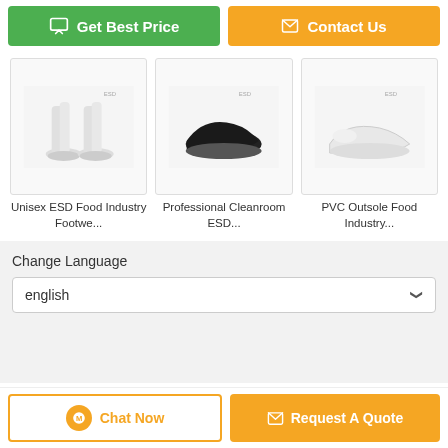[Figure (screenshot): Two CTA buttons: green 'Get Best Price' and orange 'Contact Us']
[Figure (photo): Three product thumbnail images: ESD footwear/boots, black ESD shoe, white ESD shoe]
Unisex ESD Food Industry Footwe...
Professional Cleanroom ESD...
PVC Outsole Food Industry...
Change Language
english
Home | About Us | Contact Us
Desktop View
Copyright © 2019 - 2022 anti-static-esd.com. All rights reserved.
[Figure (screenshot): Bottom buttons: 'Chat Now' and orange 'Request A Quote']